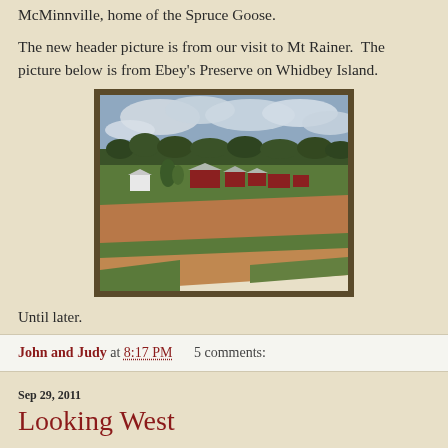McMinnville, home of the Spruce Goose.
The new header picture is from our visit to Mt Rainer.  The picture below is from Ebey's Preserve on Whidbey Island.
[Figure (photo): Aerial/elevated view of farmland on Whidbey Island showing green fields, brown plowed strips, red farm buildings, and a treeline under a cloudy sky.]
Until later.
John and Judy at 8:17 PM    5 comments:
Sep 29, 2011
Looking West